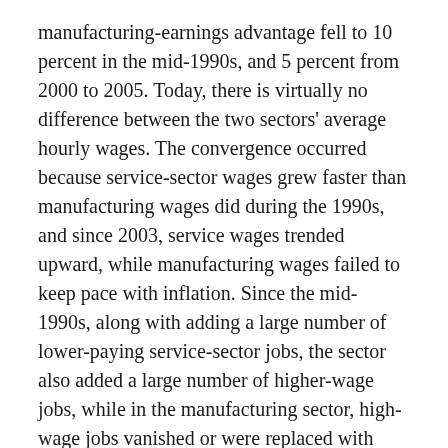manufacturing-earnings advantage fell to 10 percent in the mid-1990s, and 5 percent from 2000 to 2005. Today, there is virtually no difference between the two sectors' average hourly wages. The convergence occurred because service-sector wages grew faster than manufacturing wages did during the 1990s, and since 2003, service wages trended upward, while manufacturing wages failed to keep pace with inflation. Since the mid-1990s, along with adding a large number of lower-paying service-sector jobs, the sector also added a large number of higher-wage jobs, while in the manufacturing sector, high-wage jobs vanished or were replaced with lower-wage jobs.
Implicit Contracts Have Eroded.
Among nearly all groups, regardless of